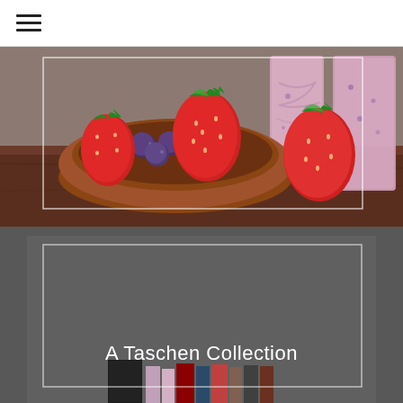[Figure (photo): Food photography showing a wooden bowl filled with fresh strawberries and blueberries alongside two glasses of pink/purple berry smoothies on a wooden surface.]
[Figure (photo): Dark background product photo showing a Taschen book collection set with various book spines and covers visible at the bottom. Text overlay reads 'A Taschen Collection'.]